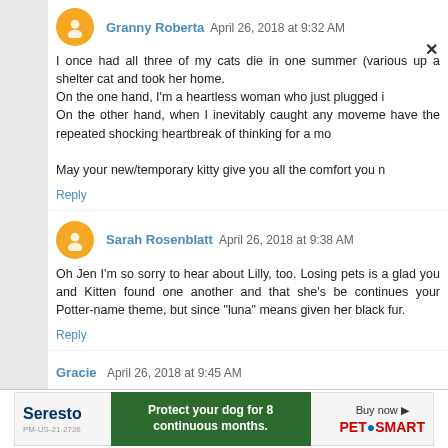Granny Roberta  April 26, 2018 at 9:32 AM
I once had all three of my cats die in one summer (various up a shelter cat and took her home. On the one hand, I'm a heartless woman who just plugged i On the other hand, when I inevitably caught any moveme have the repeated shocking heartbreak of thinking for a mo May your new/temporary kitty give you all the comfort you n
Reply
Sarah Rosenblatt  April 26, 2018 at 9:38 AM
Oh Jen I'm so sorry to hear about Lilly, too. Losing pets is a glad you and Kitten found one another and that she's be continues your Potter-name theme, but since "luna" means given her black fur.
Reply
Gracie  April 26, 2018 at 9:45 AM
We had a very similar situation. Shortly after the loss of a He was so tiny and sick and had a broken leg. We d shelter. Long story short he's still with us, he brings u
[Figure (advertisement): Seresto flea collar advertisement with PetSmart branding. Text: Protect your dog for 8 continuous months. Buy now. PetSmart logo.]